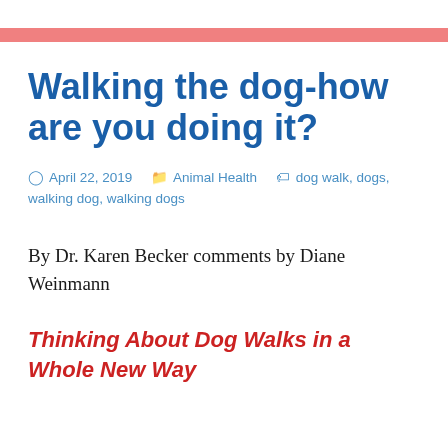Walking the dog-how are you doing it?
April 22, 2019   Animal Health   dog walk, dogs, walking dog, walking dogs
By Dr. Karen Becker comments by Diane Weinmann
Thinking About Dog Walks in a Whole New Way